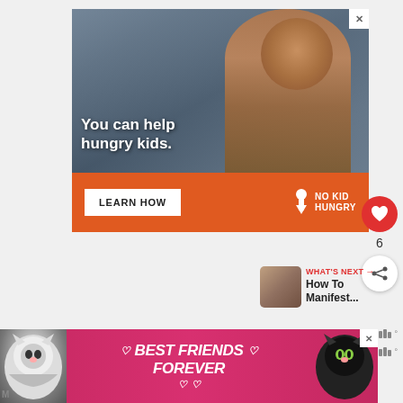[Figure (photo): Advertisement banner: A young boy eating in a classroom. Orange bar at bottom with 'LEARN HOW' button and 'NO KID HUNGRY' logo. Text overlay reads 'You can help hungry kids.']
[Figure (infographic): Heart/like button (red circle with heart icon) showing count of 6, and a share button below it.]
WHAT'S NEXT → How To Manifest...
[Figure (photo): Bottom banner advertisement: two cats (one black-and-white, one black) flanking text 'BEST FRIENDS FOREVER' with heart symbols, on a pink/magenta background.]